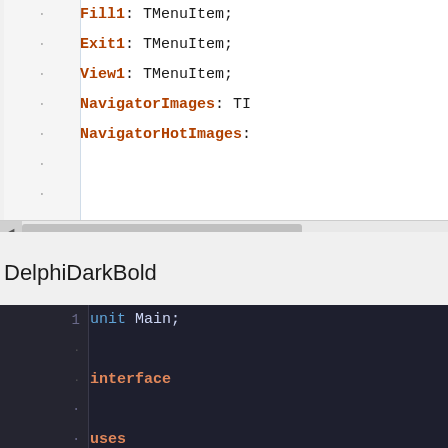[Figure (screenshot): Light-themed Delphi code editor showing fields: Exit1: TMenuItem; View1: TMenuItem; NavigatorImages: TI...; NavigatorHotImages: ...; with line number gutter and horizontal scrollbar]
DelphiDarkBold
[Figure (screenshot): Dark-themed Delphi code editor (DelphiDarkBold theme) showing Pascal code: unit Main; interface uses Windows, Messages, Sys...; StdCtrls, ExtCtrls, Me...; ActnList, ImgList, sho...; const CM_HOMEPAGEREQUEST = W...; X = 777; Y = 22.0876E+5; S = 'Some string'; type TMainForm = class(TFo... with dark background and colored syntax highlighting]